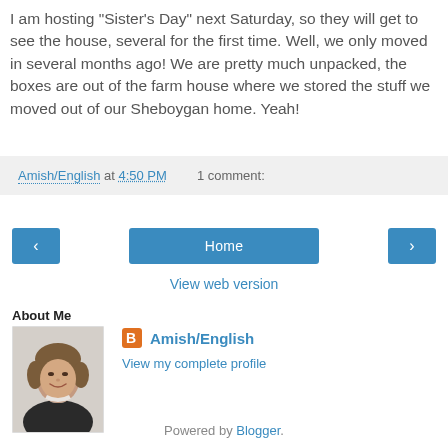I am hosting "Sister's Day" next Saturday, so they will get to see the house, several for the first time. Well, we only moved in several months ago! We are pretty much unpacked, the boxes are out of the farm house where we stored the stuff we moved out of our Sheboygan home. Yeah!
Amish/English at 4:50 PM   1 comment:
< Home > View web version
About Me
[Figure (photo): Profile photo of a woman with short hair, smiling, wearing dark clothing]
Amish/English
View my complete profile
Powered by Blogger.